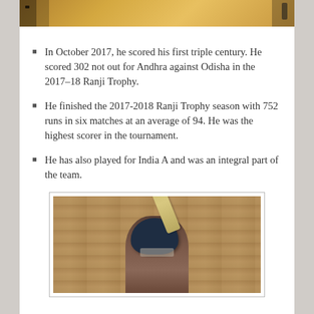[Figure (photo): Top portion of a photo showing a person against an orange/gold background]
In October 2017, he scored his first triple century. He scored 302 not out for Andhra against Odisha in the 2017–18 Ranji Trophy.
He finished the 2017-2018 Ranji Trophy season with 752 runs in six matches at an average of 94. He was the highest scorer in the tournament.
He has also played for India A and was an integral part of the team.
[Figure (photo): Photo of a cricket player in blue helmet holding up a bat, with crowd/stadium seating in background]